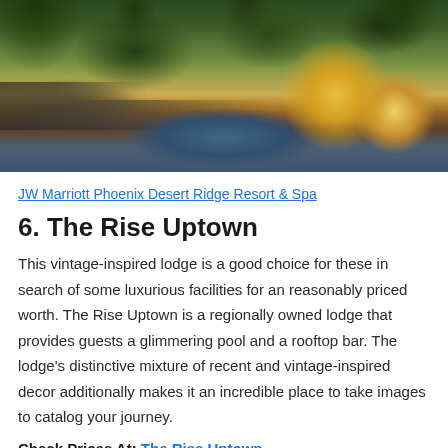[Figure (photo): Aerial view of a resort pool area with palm trees, yellow umbrellas, lounge chairs, and a railing/walkway in the foreground]
JW Marriott Phoenix Desert Ridge Resort & Spa
6. The Rise Uptown
This vintage-inspired lodge is a good choice for these in search of some luxurious facilities for an reasonably priced worth. The Rise Uptown is a regionally owned lodge that provides guests a glimmering pool and a rooftop bar. The lodge's distinctive mixture of recent and vintage-inspired decor additionally makes it an incredible place to take images to catalog your journey.
Check Prices At: The Rise Uptown
[Figure (screenshot): Red Translate button and partial photo of a landscape at the bottom of the page]